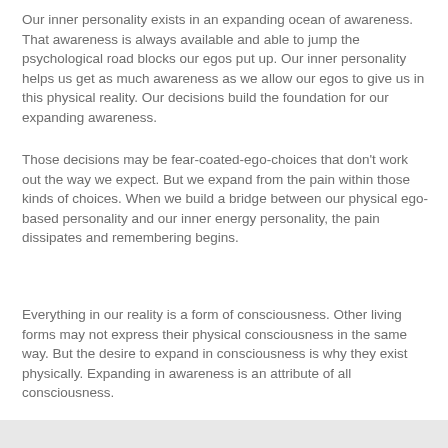Our inner personality exists in an expanding ocean of awareness. That awareness is always available and able to jump the psychological road blocks our egos put up. Our inner personality helps us get as much awareness as we allow our egos to give us in this physical reality. Our decisions build the foundation for our expanding awareness.
Those decisions may be fear-coated-ego-choices that don't work out the way we expect. But we expand from the pain within those kinds of choices. When we build a bridge between our physical ego-based personality and our inner energy personality, the pain dissipates and remembering begins.
Everything in our reality is a form of consciousness. Other living forms may not express their physical consciousness in the same way. But the desire to expand in consciousness is why they exist physically. Expanding in awareness is an attribute of all consciousness.